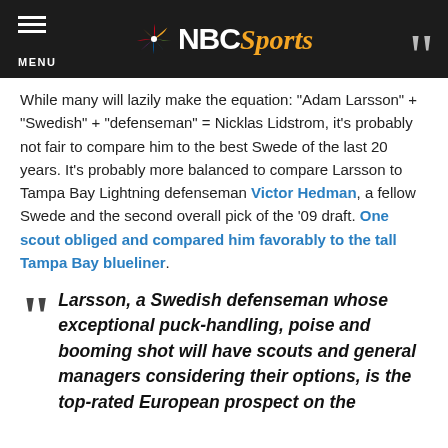NBC Sports
While many will lazily make the equation: “Adam Larsson” + “Swedish” + “defenseman” = Nicklas Lidstrom, it’s probably not fair to compare him to the best Swede of the last 20 years. It’s probably more balanced to compare Larsson to Tampa Bay Lightning defenseman Victor Hedman, a fellow Swede and the second overall pick of the ’09 draft. One scout obliged and compared him favorably to the tall Tampa Bay blueliner.
Larsson, a Swedish defenseman whose exceptional puck-handling, poise and booming shot will have scouts and general managers considering their options, is the top-rated European prospect on the